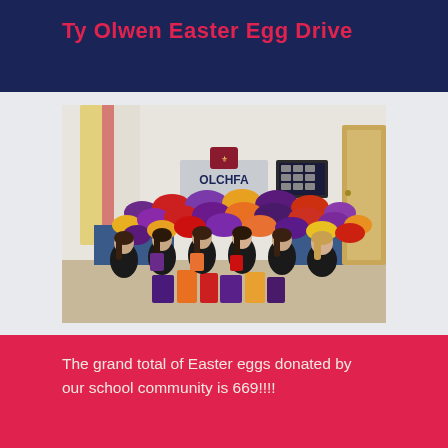Ty Olwen Easter Egg Drive
[Figure (photo): Six school students in dark uniforms sitting on the floor in front of a large pile of colourful Easter egg boxes, in front of an 'OLCHFA' school sign on the wall.]
The grand total of Easter eggs donated by our school community is 669!!!!